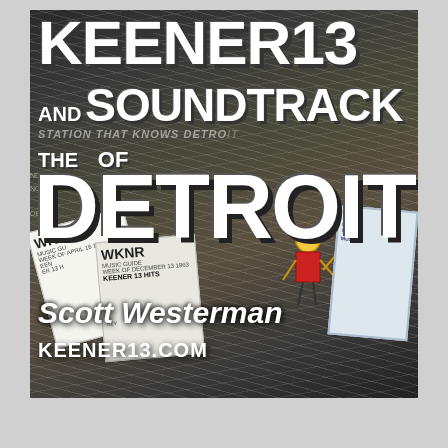[Figure (illustration): Book cover for 'KEENER 13 and the Soundtrack of Detroit' by Scott Westerman. Features a collage background of vintage WKNR music guide cards and papers. Large white bold text displays the title. Author name 'Scott Westerman' and website 'KEENER13.COM' appear at the bottom.]